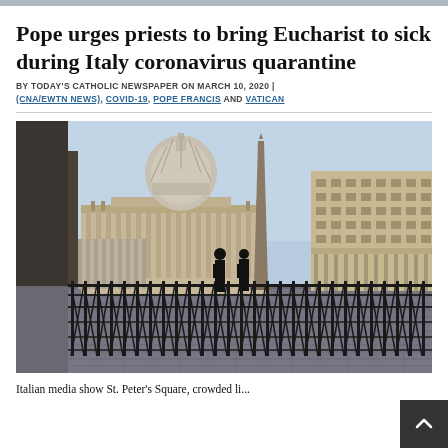Pope urges priests to bring Eucharist to sick during Italy coronavirus quarantine
BY TODAY'S CATHOLIC NEWSPAPER ON MARCH 10, 2020 | (CNA/EWTN NEWS), COVID-19, POPE FRANCIS AND VATICAN
[Figure (photo): An almost empty St. Peter's Square in Vatican City, showing the basilica dome, obelisk, and colonnaded buildings. Two people stand near metal barriers in the foreground, with cobblestone pavement visible.]
Italian media show St. Peter's Square, crowded li...